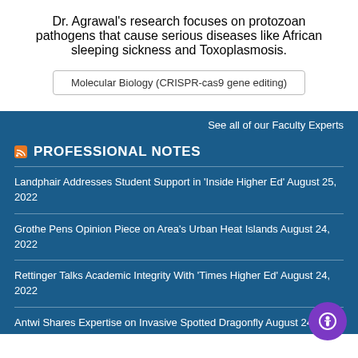Dr. Agrawal's research focuses on protozoan pathogens that cause serious diseases like African sleeping sickness and Toxoplasmosis.
Molecular Biology (CRISPR-cas9 gene editing)
See all of our Faculty Experts
PROFESSIONAL NOTES
Landphair Addresses Student Support in 'Inside Higher Ed' August 25, 2022
Grothe Pens Opinion Piece on Area's Urban Heat Islands August 24, 2022
Rettinger Talks Academic Integrity With 'Times Higher Ed' August 24, 2022
Antwi Shares Expertise on Invasive Spotted Dragonfly August 24, 2022